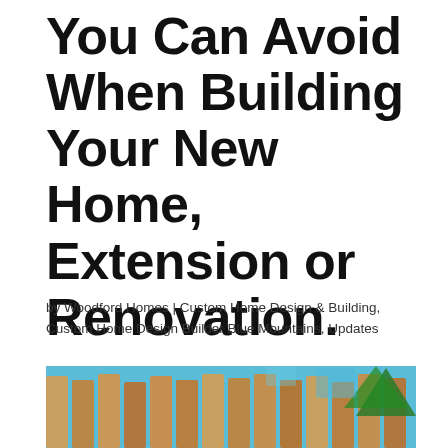You Can Avoid When Building Your New Home, Extension or Renovation.
by Woodford Homes | Custom Home Design & Building, Custom Home Design Builder Blue Mountains, Updates
[Figure (photo): Partial photo of a building structure showing wooden slats or beams, with trees and sky visible in the background, cropped at the bottom of the page.]